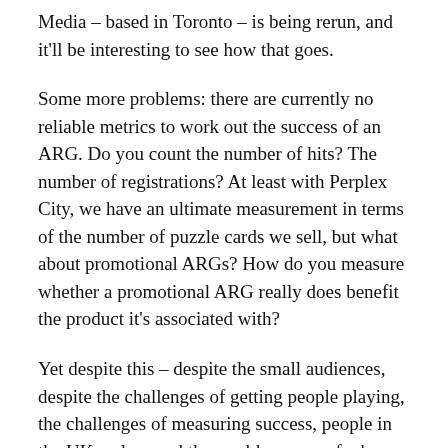Media – based in Toronto – is being rerun, and it'll be interesting to see how that goes.
Some more problems: there are currently no reliable metrics to work out the success of an ARG. Do you count the number of hits? The number of registrations? At least with Perplex City, we have an ultimate measurement in terms of the number of puzzle cards we sell, but what about promotional ARGs? How do you measure whether a promotional ARG really does benefit the product it's associated with?
Yet despite this – despite the small audiences, despite the challenges of getting people playing, the challenges of measuring success, people in the UK and around the world – many of whom are interestingly media outlets and TV studios – are very excited about the potential of ARGs. At a time when people are turning their TV off, or